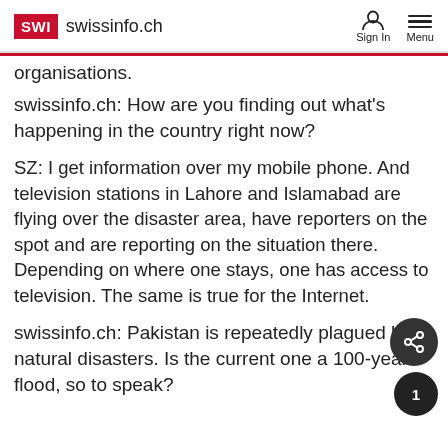SWI swissinfo.ch — Sign In  Menu
organisations.
swissinfo.ch: How are you finding out what's happening in the country right now?
SZ: I get information over my mobile phone. And television stations in Lahore and Islamabad are flying over the disaster area, have reporters on the spot and are reporting on the situation there. Depending on where one stays, one has access to television. The same is true for the Internet.
swissinfo.ch: Pakistan is repeatedly plagued by natural disasters. Is the current one a 100-year flood, so to speak?